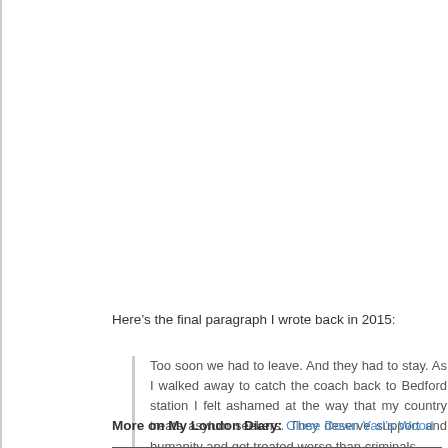Here’s the final paragraph I wrote back in 2015:
Too soon we had to leave. And they had to stay. As I walked away to catch the coach back to Bedford station I felt ashamed at the way that my country treats asylum seekers. They deserve support and humanity and get treated worse than criminals.
More on My London Diary: Close Down Yarl’s Wood